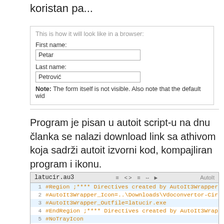koristan pa...
[Figure (screenshot): Browser form screenshot showing 'This is how it will look like in a browser:' with First name field filled with 'Petar' and Last name field filled with 'Petrović'. A note below reads: Note: The form itself is not visible. Also note that the default wid]
Program je pisan u autoit script-u na dnu članka se nalazi download link sa athivom koja sadrži autoit izvorni kod, kompajliran program i ikonu.
[Figure (screenshot): Code editor screenshot showing latucir.au3 AutoIt file with lines 1-7: #Region ;**** Directives created by AutoIt3Wrapper, #AutoIt3Wrapper_Icon=..\Downloads\Vdoconvertor-Cir, #AutoIt3Wrapper_Outfile=latucir.exe, #EndRegion ;**** Directives created by AutoIt3Wrap, #NoTrayIcon, #include <AutoItConstants.au3>, #include <MsgBoxConstants.au3>]